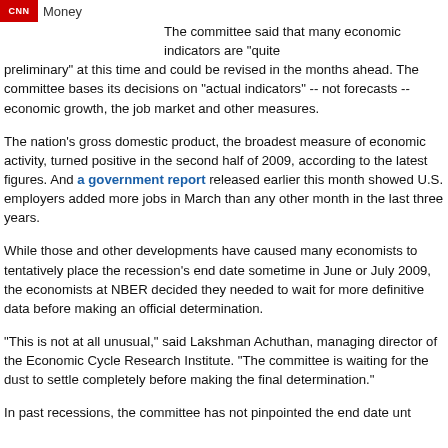CNN Money
The committee said that many economic indicators are "quite preliminary" at this time and could be revised in the months ahead. The committee bases its decisions on "actual indicators" -- not forecasts -- economic growth, the job market and other measures.
The nation's gross domestic product, the broadest measure of economic activity, turned positive in the second half of 2009, according to the latest figures. And a government report released earlier this month showed U.S. employers added more jobs in March than any other month in the last three years.
While those and other developments have caused many economists to tentatively place the recession's end date sometime in June or July 2009, the economists at NBER decided they needed to wait for more definitive data before making an official determination.
"This is not at all unusual," said Lakshman Achuthan, managing director of the Economic Cycle Research Institute. "The committee is waiting for the dust to settle completely before making the final determination."
In past recessions, the committee has not pinpointed the end date unt